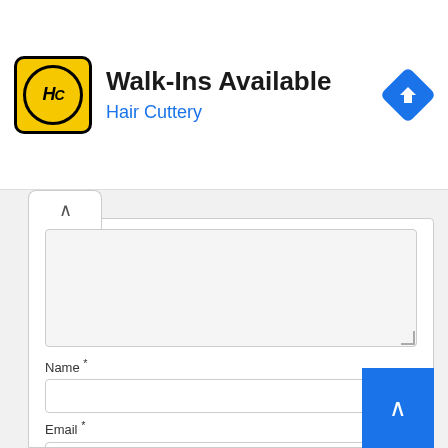[Figure (screenshot): Hair Cuttery advertisement banner with yellow logo showing 'HC' in circle, text 'Walk-Ins Available', subtitle 'Hair Cuttery' in blue, and blue diamond navigation icon on right]
Name *
Email *
Website